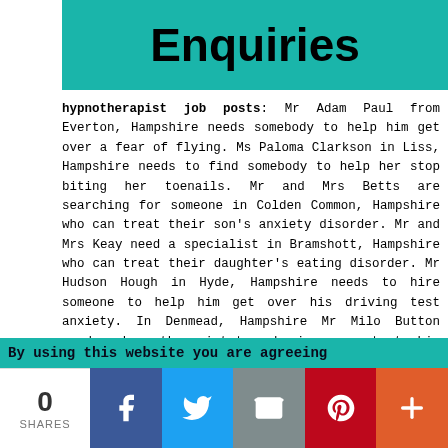Enquiries
hypnotherapist job posts: Mr Adam Paul from Everton, Hampshire needs somebody to help him get over a fear of flying. Ms Paloma Clarkson in Liss, Hampshire needs to find somebody to help her stop biting her toenails. Mr and Mrs Betts are searching for someone in Colden Common, Hampshire who can treat their son's anxiety disorder. Mr and Mrs Keay need a specialist in Bramshott, Hampshire who can treat their daughter's eating disorder. Mr Hudson Hough in Hyde, Hampshire needs to hire someone to help him get over his driving test anxiety. In Denmead, Hampshire Mr Milo Button needs a hypnotherapist to make improvements to his self-esteem. In Boldre, Hampshire Miss Lilly Cullen needs a hypnotherapist who can help her to lose excess weight. In Fordingbridge, Hampshire Mr Cody Symonds needs a hypnotherapist to cure his sleeplessness. All of these people searched for "hypnotherapy Hampshire" and located this website on either Google or some other search engine.
By using this website you are agreeing